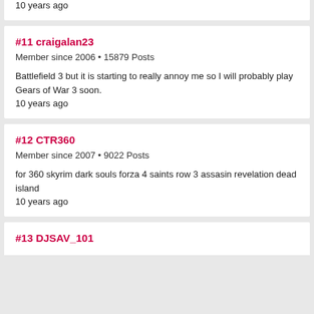10 years ago
#11 craigalan23
Member since 2006 • 15879 Posts
Battlefield 3 but it is starting to really annoy me so I will probably play Gears of War 3 soon.
10 years ago
#12 CTR360
Member since 2007 • 9022 Posts
for 360 skyrim dark souls forza 4 saints row 3 assasin revelation dead island
10 years ago
#13 DJSAV_101